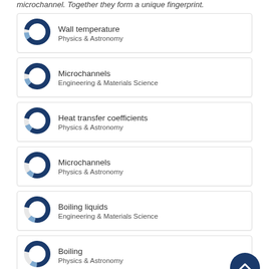microchannel. Together they form a unique fingerprint.
Wall temperature — Physics & Astronomy
Microchannels — Engineering & Materials Science
Heat transfer coefficients — Physics & Astronomy
Microchannels — Physics & Astronomy
Boiling liquids — Engineering & Materials Science
Boiling — Physics & Astronomy